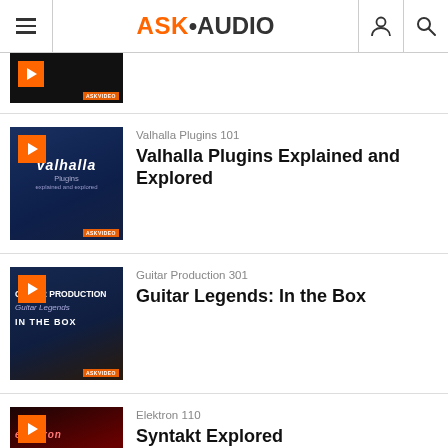ASK·AUDIO
[Figure (screenshot): Thumbnail of a course, partially visible at top of list]
Valhalla Plugins 101
Valhalla Plugins Explained and Explored
Guitar Production 301
Guitar Legends: In the Box
Elektron 110
Syntakt Explored